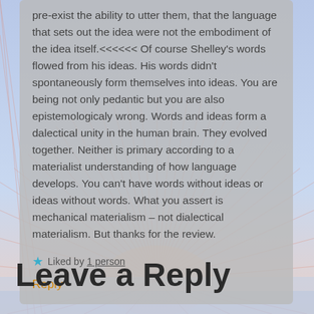pre-exist the ability to utter them, that the language that sets out the idea were not the embodiment of the idea itself.<<<<<< Of course Shelley's words flowed from his ideas. His words didn't spontaneously form themselves into ideas. You are being not only pedantic but you are also epistemologicaly wrong. Words and ideas form a dalectical unity in the human brain. They evolved together. Neither is primary according to a materialist understanding of how language develops. You can't have words without ideas or ideas without words. What you assert is mechanical materialism – not dialectical materialism. But thanks for the review.
Liked by 1 person
Reply
Leave a Reply